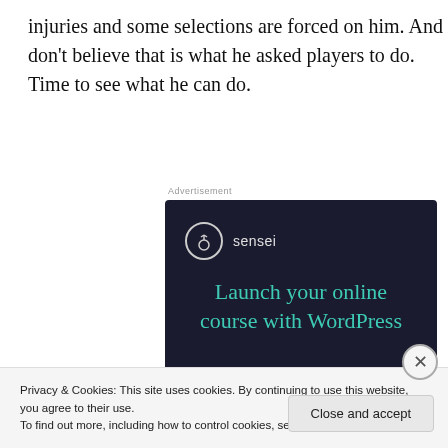injuries and some selections are forced on him. And don't believe that is what he asked players to do. Time to see what he can do.
[Figure (advertisement): Sensei advertisement with dark navy background. Logo shows a circle with a tree icon and 'sensei' text beside it. Headline reads 'Launch your online course with WordPress' in teal/green color. A teal rounded button reads 'Learn More'.]
Privacy & Cookies: This site uses cookies. By continuing to use this website, you agree to their use.
To find out more, including how to control cookies, see here: Cookie Policy
Close and accept